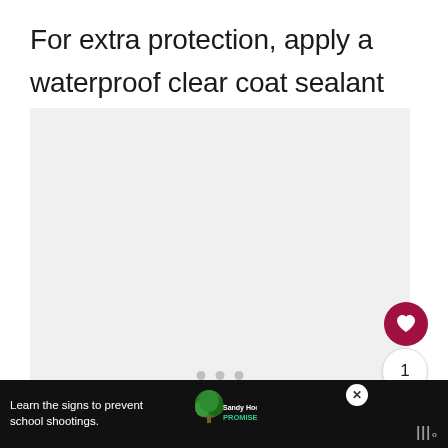For extra protection, apply a waterproof clear coat sealant spray.
[Figure (photo): Light gray rectangular image placeholder area with three small dots at bottom center indicating an image carousel]
[Figure (infographic): Advertisement bar at bottom: dark/black background with text 'Learn the signs to prevent school shootings.' next to Sandy Hook Promise logo (green tree), a close button (X), and a share/app icon on the right]